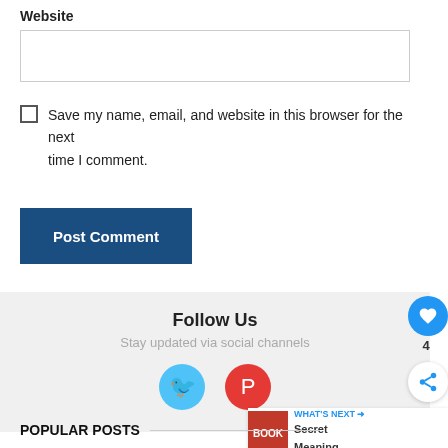Website
[Figure (screenshot): Empty text input field for website URL]
Save my name, email, and website in this browser for the next time I comment.
[Figure (screenshot): Post Comment button, dark blue]
Follow Us
Stay updated via social channels
[Figure (infographic): Twitter and Pinterest social media icons]
[Figure (screenshot): Heart/like button with count 4 and share button on right side]
[Figure (screenshot): What's Next widget with thumbnail and text: Secret Meaning,...]
POPULAR POSTS